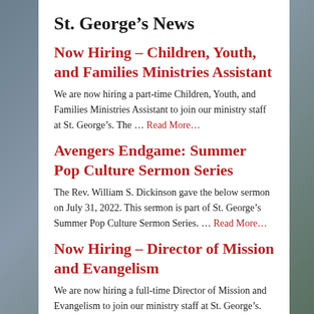St. George’s News
Now Hiring – Children, Youth, and Families Ministries Assistant
We are now hiring a part-time Children, Youth, and Families Ministries Assistant to join our ministry staff at St. George’s. The … Read More…
Avengers Endgame: Summer Pop Culture Sermon Series
The Rev. William S. Dickinson gave the below sermon on July 31, 2022. This sermon is part of St. George’s Summer Pop Culture Sermon Series. … Read More…
Now Hiring – Director of Mission and Evangelism
We are now hiring a full-time Director of Mission and Evangelism to join our ministry staff at St. George’s.